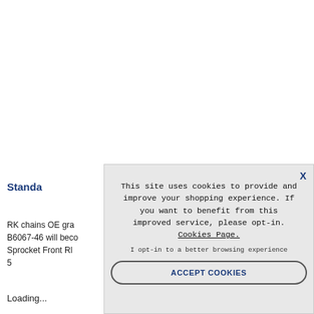Standa
RK chains OE gra B6067-46 will beco Sprocket Front Rl 5
Loading...
This site uses cookies to provide and improve your shopping experience. If you want to benefit from this improved service, please opt-in. Cookies Page.
I opt-in to a better browsing experience
ACCEPT COOKIES